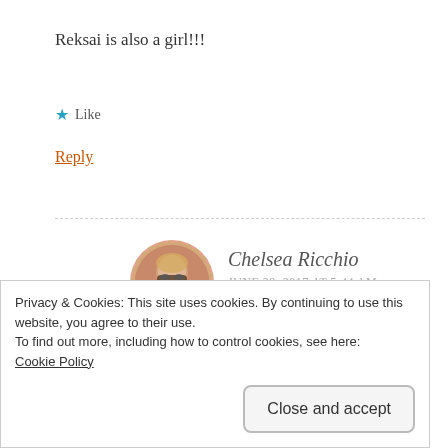Reksai is also a girl!!!
★ Like
Reply
Chelsea Ricchio
JUNE 29, 2017 AT 5:44 AM
[Figure (photo): Circular avatar photo of Chelsea Ricchio, a woman with blonde hair and glasses, framed with a dashed pink/red border.]
I heard that!! I wonder how they determine
Privacy & Cookies: This site uses cookies. By continuing to use this website, you agree to their use.
To find out more, including how to control cookies, see here:
Cookie Policy
Close and accept